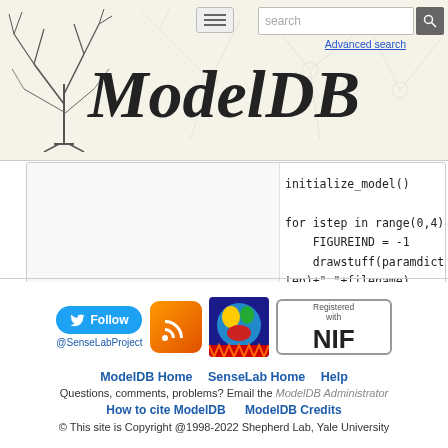[Figure (screenshot): ModelDB website header with logo, hamburger menu, search bar, and Advanced search link]
initialize_model()

for istep in range(0,4):
    FIGUREIND = -1
    drawstuff(paramdict,istep,"step"+str(is
tep)+"_"+filename)
[Figure (screenshot): Footer with Twitter Follow @SenseLabProject button, RSS icon, SenseLab icon, NIF Registered badge]
ModelDB Home  SenseLab Home  Help
Questions, comments, problems? Email the ModelDB Administrator
How to cite ModelDB      ModelDB Credits
© This site is Copyright @1998-2022 Shepherd Lab, Yale University